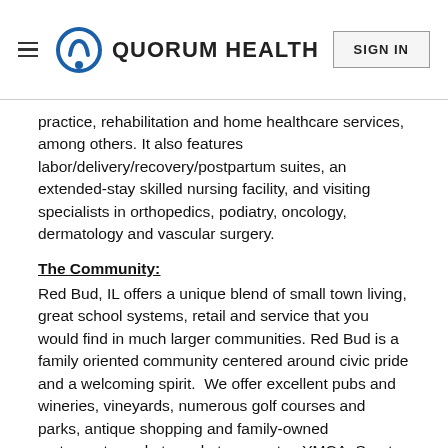QUORUM HEALTH | SIGN IN
practice, rehabilitation and home healthcare services, among others. It also features labor/delivery/recovery/postpartum suites, an extended-stay skilled nursing facility, and visiting specialists in orthopedics, podiatry, oncology, dermatology and vascular surgery.
The Community:
Red Bud, IL offers a unique blend of small town living, great school systems, retail and service that you would find in much larger communities. Red Bud is a family oriented community centered around civic pride and a welcoming spirit.  We offer excellent pubs and wineries, vineyards, numerous golf courses and parks, antique shopping and family-owned restaurants, a skate park, teen center, YMCA, Sports Complex, activities on the Mississippi and Kaskaskia River, beautiful Historic Homes, year-round festivals and much more. For a fun family outing, you can enjoy the indoor interactive